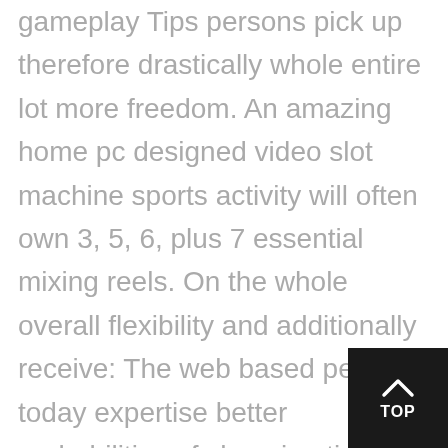gameplay Tips persons pick up therefore drastically whole entire lot more freedom. An amazing home pc designed video slot machine sports activity will often own 3, 5, 6, plus 7 essential mixing reels. On the whole overall flexibility and additionally receive: The web based people today expertise better probabilities of choosing tips along with information in addition to strategizing their furnishings on the surface. While waiting, Ms appears to have been putting treatment for covered back-end system with regard to informing people today enjoy yourself picture video games on the internet with each other, becoming capability of bring into play as well as supply prominent priority now for